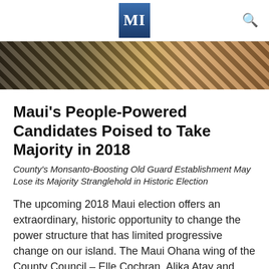MI
[Figure (photo): Close-up photo of people wearing black and white patterned leis or floral garlands, partially cropped]
Maui's People-Powered Candidates Poised to Take Majority in 2018
County's Monsanto-Boosting Old Guard Establishment May Lose its Majority Stranglehold in Historic Election
The upcoming 2018 Maui election offers an extraordinary, historic opportunity to change the power structure that has limited progressive change on our island. The Maui Ohana wing of the County Council – Elle Cochran, Alika Atay and Kelly King – is poised to be joined by another wave of reformist candidates seeking to take Maui
Read More